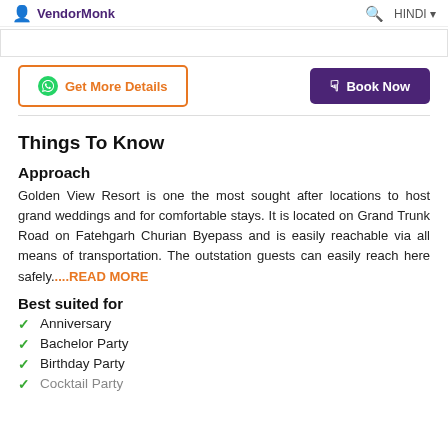VendorMonk
Things To Know
Approach
Golden View Resort is one the most sought after locations to host grand weddings and for comfortable stays. It is located on Grand Trunk Road on Fatehgarh Churian Byepass and is easily reachable via all means of transportation. The outstation guests can easily reach here safely....READ MORE
Best suited for
Anniversary
Bachelor Party
Birthday Party
Cocktail Party